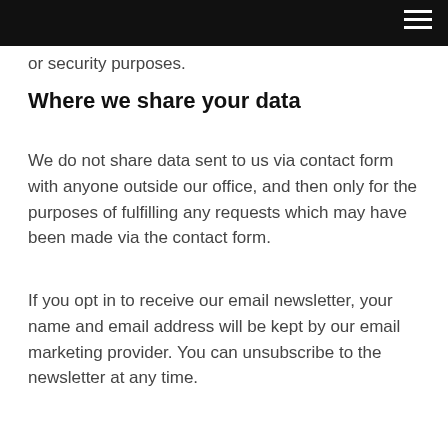or security purposes.
Where we share your data
We do not share data sent to us via contact form with anyone outside our office, and then only for the purposes of fulfilling any requests which may have been made via the contact form.
If you opt in to receive our email newsletter, your name and email address will be kept by our email marketing provider. You can unsubscribe to the newsletter at any time.